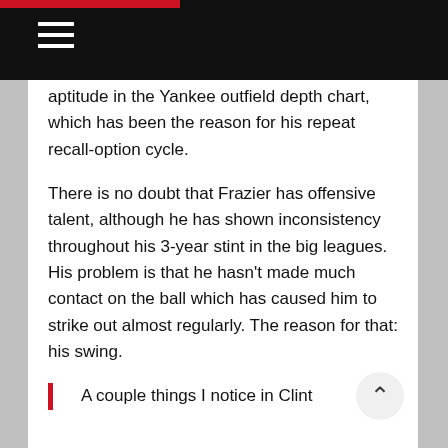aptitude in the Yankee outfield depth chart, which has been the reason for his repeat recall-option cycle.
There is no doubt that Frazier has offensive talent, although he has shown inconsistency throughout his 3-year stint in the big leagues. His problem is that he hasn't made much contact on the ball which has caused him to strike out almost regularly. The reason for that: his swing.
A couple things I notice in Clint